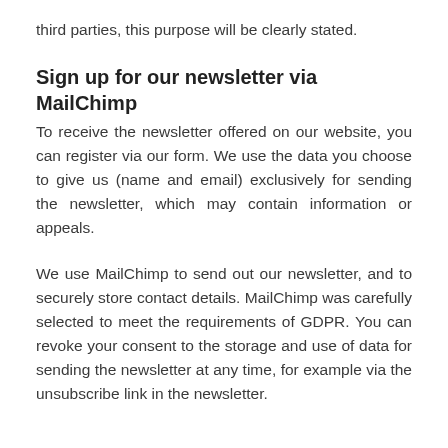third parties, this purpose will be clearly stated.
Sign up for our newsletter via MailChimp
To receive the newsletter offered on our website, you can register via our form. We use the data you choose to give us (name and email) exclusively for sending the newsletter, which may contain information or appeals.
We use MailChimp to send out our newsletter, and to securely store contact details. MailChimp was carefully selected to meet the requirements of GDPR. You can revoke your consent to the storage and use of data for sending the newsletter at any time, for example via the unsubscribe link in the newsletter.